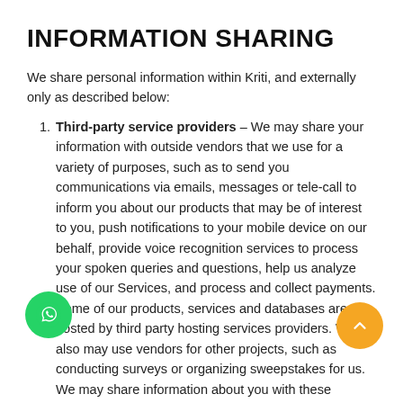INFORMATION SHARING
We share personal information within Kriti, and externally only as described below:
Third-party service providers – We may share your information with outside vendors that we use for a variety of purposes, such as to send you communications via emails, messages or tele-call to inform you about our products that may be of interest to you, push notifications to your mobile device on our behalf, provide voice recognition services to process your spoken queries and questions, help us analyze use of our Services, and process and collect payments. Some of our products, services and databases are hosted by third party hosting services providers. We also may use vendors for other projects, such as conducting surveys or organizing sweepstakes for us. We may share information about you with these vendors only to enable them to perform their services.